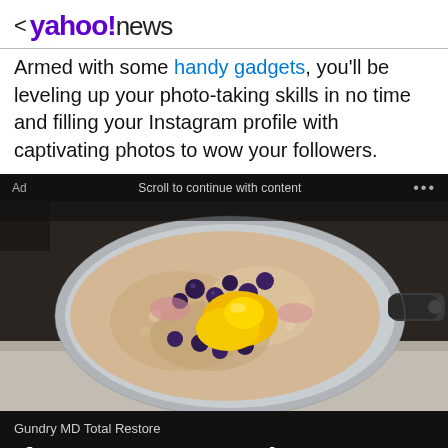< yahoo!news
Armed with some handy gadgets, you'll be leveling up your photo-taking skills in no time and filling your Instagram profile with captivating photos to wow your followers.
[Figure (screenshot): Advertisement block on a dark background showing a pot of oatmeal cooking on a stovetop with blueberries and egg yolk. Ad label, scroll text, and three-dot menu visible. Sponsor text: Gundry MD Total Restore. Headline: If You Eat Oatmeal Every Day, This Is What]